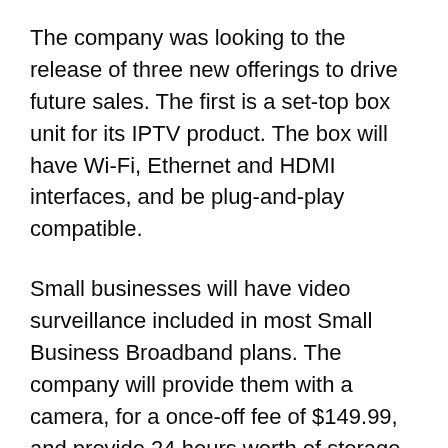The company was looking to the release of three new offerings to drive future sales. The first is a set-top box unit for its IPTV product. The box will have Wi-Fi, Ethernet and HDMI interfaces, and be plug-and-play compatible.
Small businesses will have video surveillance included in most Small Business Broadband plans. The company will provide them with a camera, for a once-off fee of $149.99, and provide 24 hours worth of storage space in the cloud. It will also sell 30 days of storage space for an additional $10 per month.
Also on the small business side, it plans to roll out